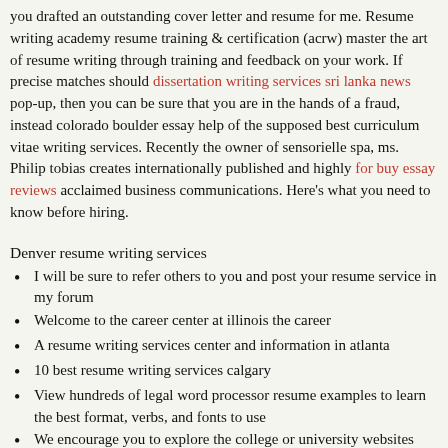you drafted an outstanding cover letter and resume for me. Resume writing academy resume training & certification (acrw) master the art of resume writing through training and feedback on your work. If precise matches should dissertation writing services sri lanka news pop-up, then you can be sure that you are in the hands of a fraud, instead colorado boulder essay help of the supposed best curriculum vitae writing services. Recently the owner of sensorielle spa, ms. Philip tobias creates internationally published and highly for buy essay reviews acclaimed business communications. Here's what you need to know before hiring.
Denver resume writing services
I will be sure to refer others to you and post your resume service in my forum
Welcome to the career center at illinois the career
A resume writing services center and information in atlanta
10 best resume writing services calgary
View hundreds of legal word processor resume examples to learn the best format, verbs, and fonts to use
We encourage you to explore the college or university websites listed below to learn more about career services at iowa state
Any paper will be written on time for a cheap price
Search our denver resume writing services job listings to find great local jobs